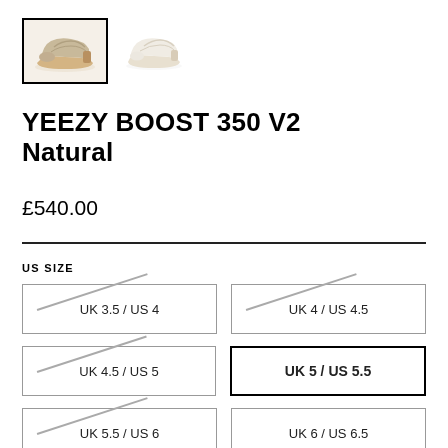[Figure (photo): Two thumbnail images of Yeezy Boost 350 V2 Natural sneaker. First thumbnail is selected (bordered), showing shoe with tan/beige colorway. Second thumbnail shows white/cream version.]
YEEZY BOOST 350 V2 Natural
£540.00
US SIZE
| UK 3.5 / US 4 | UK 4 / US 4.5 |
| UK 4.5 / US 5 | UK 5 / US 5.5 |
| UK 5.5 / US 6 | UK 6 / US 6.5 |